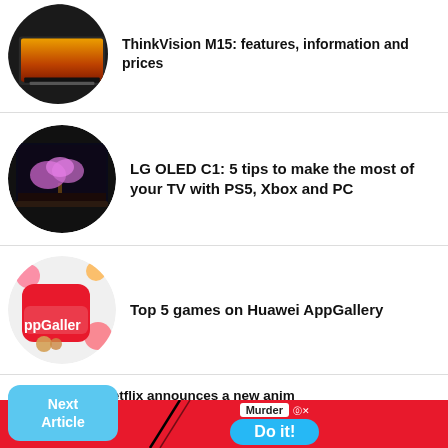[Figure (photo): Circular thumbnail of a laptop/monitor display, partially visible at top]
Lenovo monitors L24, L27, L32 and ThinkVision M15: features, information and prices
[Figure (photo): Circular thumbnail of LG OLED TV showing a pink tree]
LG OLED C1: 5 tips to make the most of your TV with PS5, Xbox and PC
[Figure (photo): Circular thumbnail of Huawei AppGallery app logo]
Top 5 games on Huawei AppGallery
[Figure (photo): Circular thumbnail partially visible, cats/dogs]
Netflix announces a new animated Bastard !!
[Figure (screenshot): BitLife advertisement with Murder and Do it! button, with Close X overlay and Next Article button]